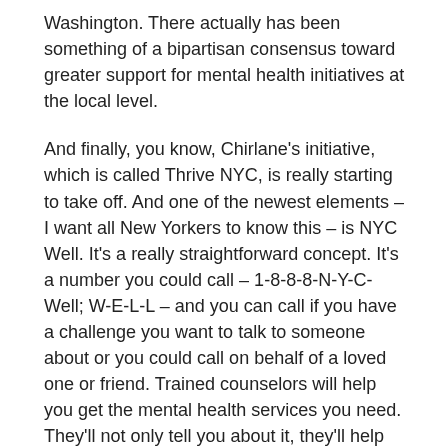Washington. There actually has been something of a bipartisan consensus toward greater support for mental health initiatives at the local level.
And finally, you know, Chirlane's initiative, which is called Thrive NYC, is really starting to take off. And one of the newest elements – I want all New Yorkers to know this – is NYC Well. It's a really straightforward concept. It's a number you could call – 1-8-8-8-N-Y-C-Well; W-E-L-L – and you can call if you have a challenge you want to talk to someone about or you could call on behalf of a loved one or friend. Trained counselors will help you get the mental health services you need. They'll not only tell you about it, they'll help connect you to the appointment. They'll follow up to make sure it's working with you – whatever that kind of service is. We've never had that before and this is something Chirlane really believed that we needed – an easy access point for mental health services and substance misuse services. This is, I think, going to revolutionize our ability to reach people in need.